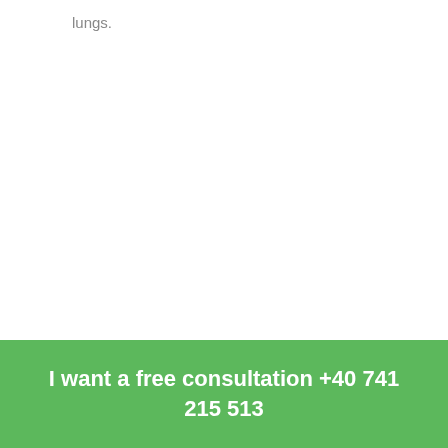lungs.
I want a free consultation +40 741 215 513